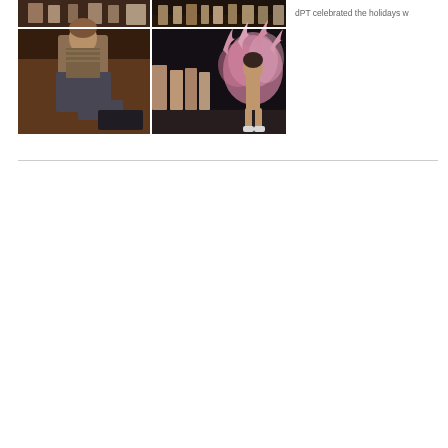[Figure (photo): A collage of four photographs: top-left shows people at what appears to be a holiday party/performance event; top-right shows a group of people on a stage or dance floor; bottom-left shows a man sitting casually; bottom-right shows a performer in a pink feathered costume on a stage with audience members visible in the background.]
dPT celebrated the holidays w